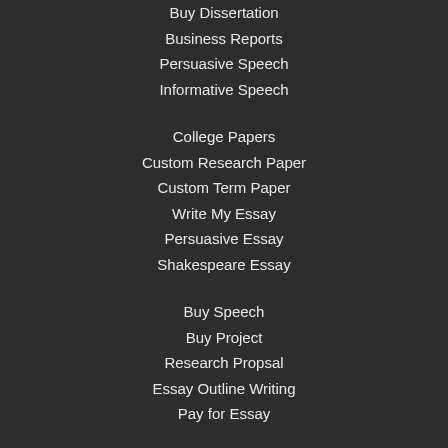Buy Dissertation
Business Reports
Persuasive Speech
Informative Speech
College Papers
Custom Research Paper
Custom Term Paper
Write My Essay
Persuasive Essay
Shakespeare Essay
Buy Speech
Buy Project
Research Propsal
Essay Outline Writing
Pay for Essay